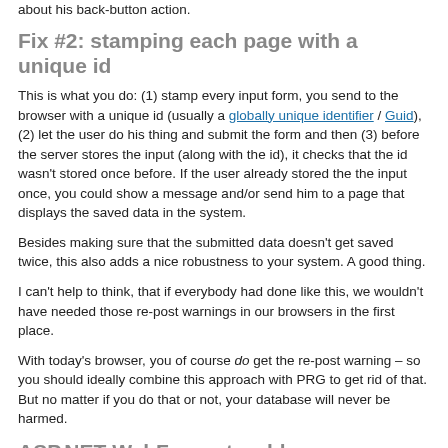about his back-button action.
Fix #2: stamping each page with a unique id
This is what you do: (1) stamp every input form, you send to the browser with a unique id (usually a globally unique identifier / Guid), (2) let the user do his thing and submit the form and then (3) before the server stores the input (along with the id), it checks that the id wasn't stored once before. If the user already stored the the input once, you could show a message and/or send him to a page that displays the saved data in the system.
Besides making sure that the submitted data doesn't get saved twice, this also adds a nice robustness to your system. A good thing.
I can't help to think, that if everybody had done like this, we wouldn't have needed those re-post warnings in our browsers in the first place.
With today's browser, you of course do get the re-post warning – so you should ideally combine this approach with PRG to get rid of that. But no matter if you do that or not, your database will never be harmed.
ASP.NET WebForms troubles
It's a testament to how hard it is to get everything to fit, that Microsoft didn't implement PRG as a default behavior in WebForms, which more often than